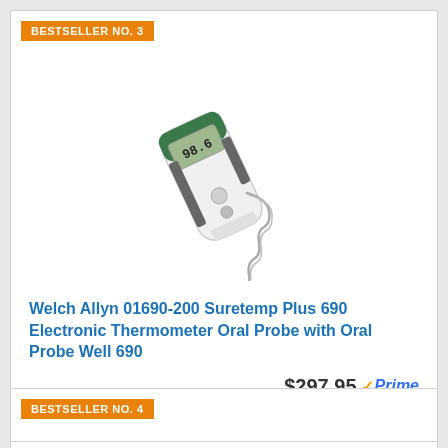BESTSELLER NO. 3
[Figure (photo): Welch Allyn Suretemp Plus 690 electronic thermometer with coiled cord probe, white and gray body with green accents, digital display showing 98.6]
Welch Allyn 01690-200 Suretemp Plus 690 Electronic Thermometer Oral Probe with Oral Probe Well 690
$297.95 ✓Prime
🛒 Buy on Amazon
BESTSELLER NO. 4